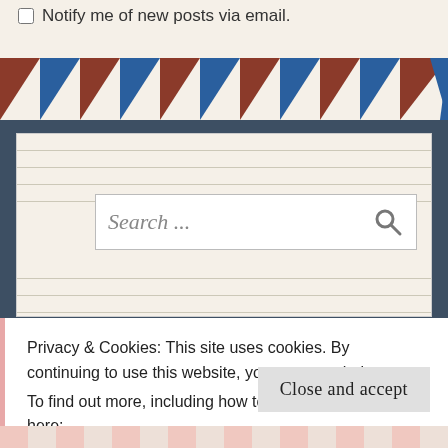Notify me of new posts via email.
[Figure (illustration): Airmail envelope decorative border with alternating red/brown and blue diagonal stripe triangles]
[Figure (screenshot): Search widget with lined notepad background and search input box containing placeholder text 'Search ...' with magnifying glass icon]
[Figure (screenshot): WordPress Follow button reading 'Follow Sam's Little Corner' with follower count badge showing 124]
Privacy & Cookies: This site uses cookies. By continuing to use this website, you agree to their use.
To find out more, including how to control cookies, see here:
Cookie Policy
Close and accept